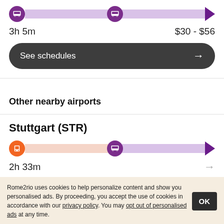[Figure (infographic): Route bar with two purple train icons and a purple triangle endpoint, shown on a purple/lavender bar]
3h 5m    $30 - $56
See schedules →
Other nearby airports
Stuttgart (STR)
[Figure (infographic): Route bar with orange bus icon, purple train icon, and purple triangle endpoint on a two-segment colored bar]
2h 33m →
Rome2rio uses cookies to help personalize content and show you personalised ads. By proceeding, you accept the use of cookies in accordance with our privacy policy. You may opt out of personalised ads at any time.